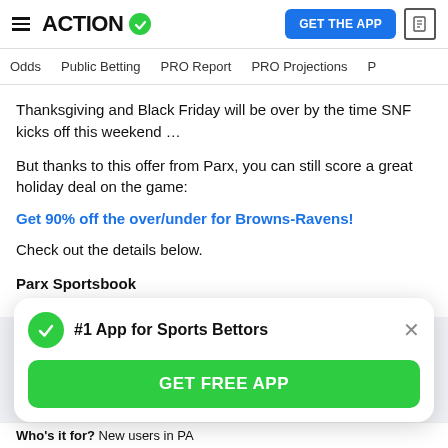ACTION (logo with green checkmark) | GET THE APP
Odds | Public Betting | PRO Report | PRO Projections
Thanksgiving and Black Friday will be over by the time SNF kicks off this weekend …
But thanks to this offer from Parx, you can still score a great holiday deal on the game:
Get 90% off the over/under for Browns-Ravens!
Check out the details below.
Parx Sportsbook
#1 App for Sports Bettors
GET FREE APP
Who's it for? New users in PA